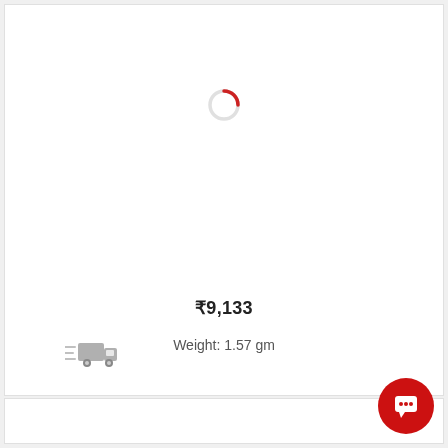[Figure (illustration): Red circular loading spinner icon centered in the upper card area]
₹9,133
[Figure (illustration): Gray delivery truck icon with speed lines on the left side]
Weight: 1.57 gm
[Figure (illustration): Red circular chat/message button in the bottom-right corner]